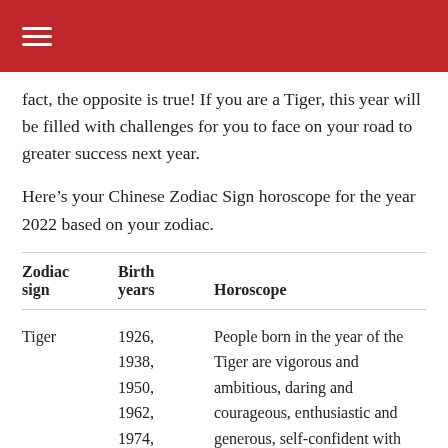☰
fact, the opposite is true! If you are a Tiger, this year will be filled with challenges for you to face on your road to greater success next year.
Here's your Chinese Zodiac Sign horoscope for the year 2022 based on your zodiac.
| Zodiac sign | Birth years | Horoscope |
| --- | --- | --- |
| Tiger | 1926,
1938,
1950,
1962,
1974, | People born in the year of the Tiger are vigorous and ambitious, daring and courageous, enthusiastic and generous, self-confident with |